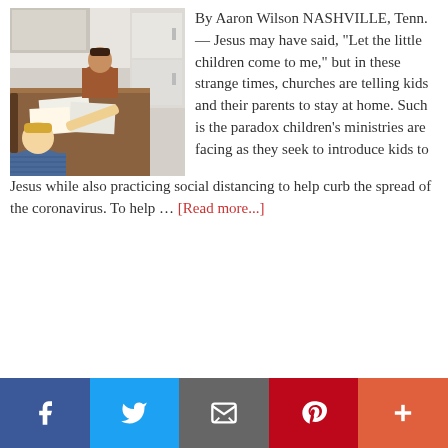[Figure (photo): Children sitting around a dining table looking at papers and books, with a kitchen and refrigerator visible in the background.]
By Aaron Wilson NASHVILLE, Tenn. — Jesus may have said, "Let the little children come to me," but in these strange times, churches are telling kids and their parents to stay at home. Such is the paradox children's ministries are facing as they seek to introduce kids to Jesus while also practicing social distancing to help curb the spread of the coronavirus. To help … [Read more...]
Next Page »